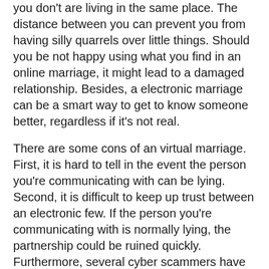you don't are living in the same place. The distance between you can prevent you from having silly quarrels over little things. Should you be not happy using what you find in an online marriage, it might lead to a damaged relationship. Besides, a electronic marriage can be a smart way to get to know someone better, regardless if it's not real.
There are some cons of an virtual marriage. First, it is hard to tell in the event the person you're communicating with can be lying. Second, it is difficult to keep up trust between an electronic few. If the person you're communicating with is normally lying, the partnership could be ruined quickly. Furthermore, several cyber scammers have been known to steal an individual's identity and employ it for name-theft. Finally, you should make sure that you have the proper software to guard yourself via a cyberattack.
While you won't be able to touch your virtual partner in